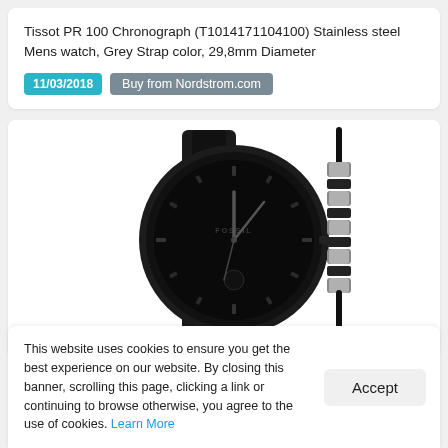Tissot PR 100 Chronograph (T1014171104100) Stainless steel Mens watch, Grey Strap color, 29,8mm Diameter
11/03/2018  Buy from Nordstrom.com
[Figure (photo): Black Fossil watch with leather strap and a black braided bracelet with silver metallic beads]
This website uses cookies to ensure you get the best experience on our website. By closing this banner, scrolling this page, clicking a link or continuing to browse otherwise, you agree to the use of cookies. Learn More